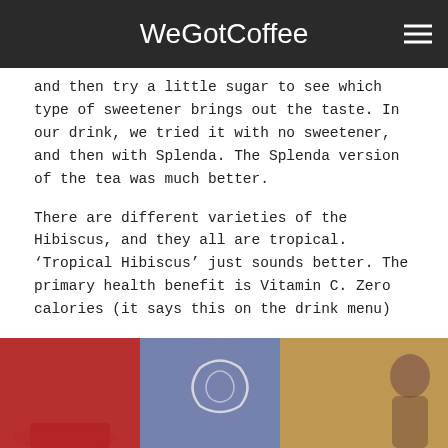WeGotCoffee
and then try a little sugar to see which type of sweetener brings out the taste. In our drink, we tried it with no sweetener, and then with Splenda. The Splenda version of the tea was much better.
There are different varieties of the Hibiscus, and they all are tropical. ‘Tropical Hibiscus’ just sounds better. The primary health benefit is Vitamin C. Zero calories (it says this on the drink menu)
[Figure (photo): Photo of colorful drinks in cups with a logo/branding mark visible, reddish and blue-purple tones, with a person visible in the background on the right side.]